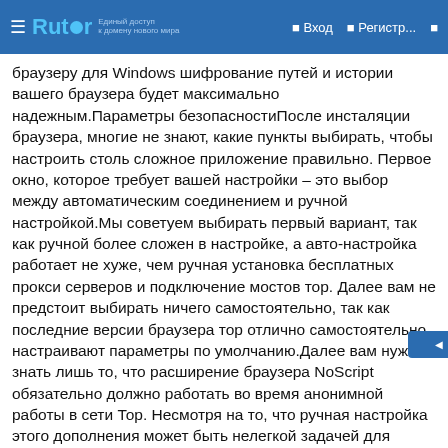☰ Rutor  ☰ Вход  ☰ Регистр... ☰
браузеру для Windows шифрование путей и истории вашего браузера будет максимально надежным.Параметры безопасностиПосле инсталяции браузера, многие не знают, какие пункты выбирать, чтобы настроить столь сложное приложение правильно. Первое окно, которое требует вашей настройки – это выбор между автоматическим соединением и ручной настройкой.Мы советуем выбирать первый вариант, так как ручной более сложен в настройке, а авто-настройка работает не хуже, чем ручная установка бесплатных прокси серверов и подключение мостов тор. Далее вам не предстоит выбирать ничего самостоятельно, так как последние версии браузера тор отлично самостоятельно настраивают параметры по умолчанию.Далее вам нужно знать лишь то, что расширение браузера NoScript обязательно должно работать во время анонимной работы в сети Тор. Несмотря на то, что ручная настройка этого дополнения может быть нелегкой задачей для многих, во время установки Тор, расширение настраивается самостоятельно.Как видите, параметры